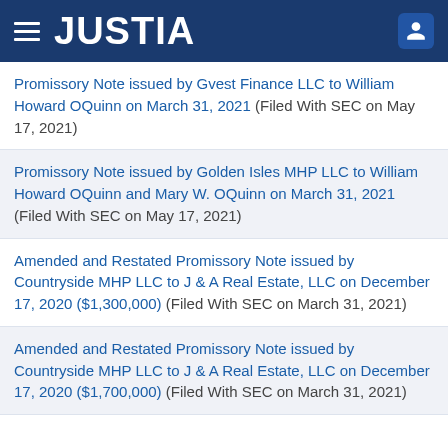JUSTIA
Promissory Note issued by Gvest Finance LLC to William Howard OQuinn on March 31, 2021 (Filed With SEC on May 17, 2021)
Promissory Note issued by Golden Isles MHP LLC to William Howard OQuinn and Mary W. OQuinn on March 31, 2021 (Filed With SEC on May 17, 2021)
Amended and Restated Promissory Note issued by Countryside MHP LLC to J & A Real Estate, LLC on December 17, 2020 ($1,300,000) (Filed With SEC on March 31, 2021)
Amended and Restated Promissory Note issued by Countryside MHP LLC to J & A Real Estate, LLC on December 17, 2020 ($1,700,000) (Filed With SEC on March 31, 2021)